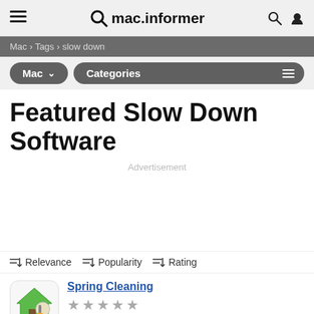mac.informer
Mac > Tags > slow down
Mac   Categories
Featured Slow Down Software
Advertisement
Relevance   Popularity   Rating
Spring Cleaning